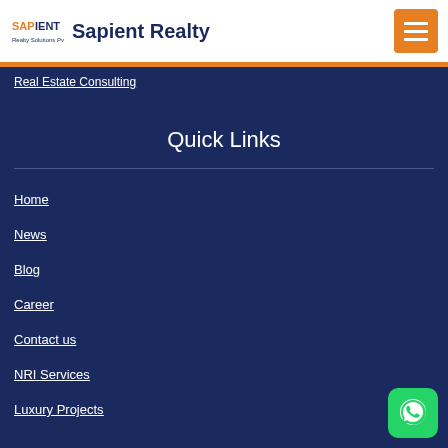Sapient Realty
Real Estate Consulting
Quick Links
Home
News
Blog
Career
Contact us
NRI Services
Luxury Projects